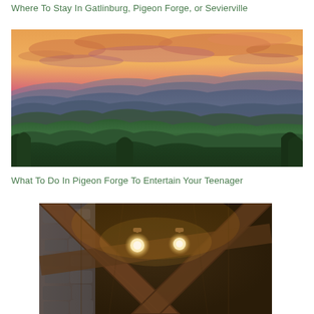Where To Stay In Gatlinburg, Pigeon Forge, or Sevierville
[Figure (photo): Panoramic sunset view over the Great Smoky Mountains with layered blue-purple ridges receding into the distance and green forested slopes in the foreground]
What To Do In Pigeon Forge To Entertain Your Teenager
[Figure (photo): Interior of a log cabin showing wooden beam ceiling with lights and stone wall details]